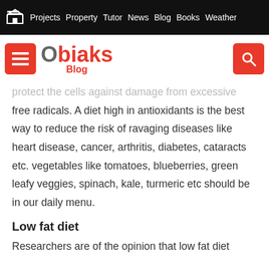Projects  Property  Tutor  News  Blog  Books  Weather
[Figure (logo): Obiaks Blog logo with hamburger menu button and search button]
protect the cells against damage from excessive free radicals. A diet high in antioxidants is the best way to reduce the risk of ravaging diseases like heart disease, cancer, arthritis, diabetes, cataracts etc. vegetables like tomatoes, blueberries, green leafy veggies, spinach, kale, turmeric etc should be in our daily menu.
Low fat diet
Researchers are of the opinion that low fat diet